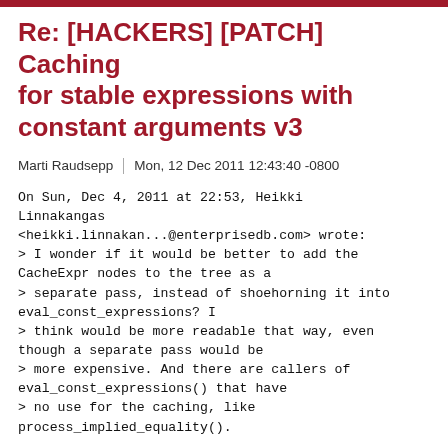Re: [HACKERS] [PATCH] Caching for stable expressions with constant arguments v3
Marti Raudsepp | Mon, 12 Dec 2011 12:43:40 -0800
On Sun, Dec 4, 2011 at 22:53, Heikki Linnakangas
<heikki.linnakan...@enterprisedb.com> wrote:
> I wonder if it would be better to add the CacheExpr nodes to the tree as a
> separate pass, instead of shoehorning it into eval_const_expressions? I
> think would be more readable that way, even though a separate pass would be
> more expensive. And there are callers of eval_const_expressions() that have
> no use for the caching, like process_implied_equality().

I had an idea how to implement this approach